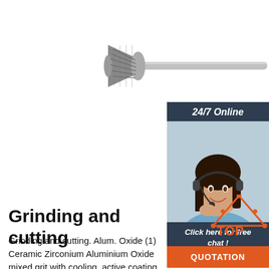[Figure (photo): A carbide rotary burr / grinding bit with a tapered head and long silver shank, photographed on white background]
[Figure (photo): Customer service representative, woman with headset, smiling, with dark background. Panel shows '24/7 Online', 'Click here for free chat!', and 'QUOTATION' button. Also shows TOP logo.]
Grinding and cutting
Grinding and cutting. Alum. Oxide (1) Ceramic Zirconium Aluminium Oxide mixed grit with cooling, active coating (TOP SIZE). (6) Ceramic grit with cooling, active coating (TOP SIZE). (18) Stainless steels, hard materials, synthetic resins, sheet metal. Suitable for ...